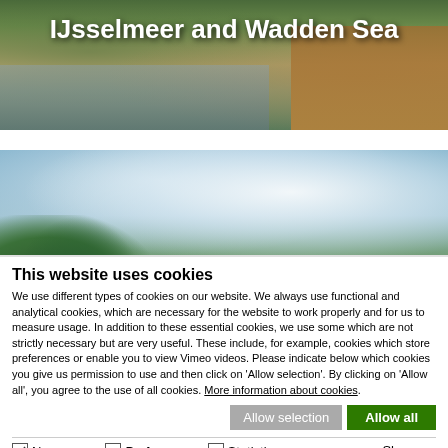[Figure (photo): Landscape photo of IJsselmeer and Wadden Sea with reeds, water reflection, and vegetation, with bold white title text overlay 'IJsselmeer and Wadden Sea']
[Figure (photo): Landscape photo showing trees and a blue sky with clouds]
This website uses cookies
We use different types of cookies on our website. We always use functional and analytical cookies, which are necessary for the website to work properly and for us to measure usage. In addition to these essential cookies, we use some which are not strictly necessary but are very useful. These include, for example, cookies which store preferences or enable you to view Vimeo videos. Please indicate below which cookies you give us permission to use and then click on 'Allow selection'. By clicking on 'Allow all', you agree to the use of all cookies. More information about cookies.